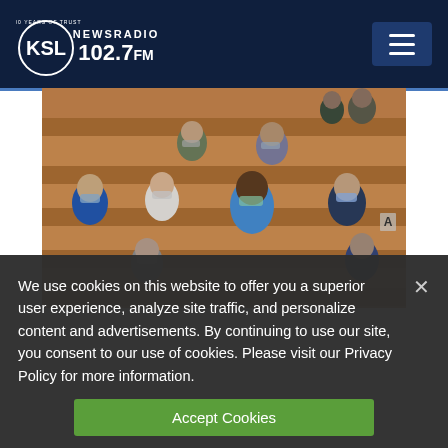KSL NewsRadio 102.7 FM — 100 Years of Trust
[Figure (photo): People sitting in wooden church pews with spacing, wearing face masks during the COVID-19 pandemic. The congregation is socially distanced in what appears to be an LDS meetinghouse or chapel.]
We use cookies on this website to offer you a superior user experience, analyze site traffic, and personalize content and advertisements. By continuing to use our site, you consent to our use of cookies. Please visit our Privacy Policy for more information.
Accept Cookies